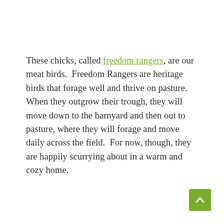These chicks, called freedom rangers, are our meat birds.  Freedom Rangers are heritage birds that forage well and thrive on pasture.  When they outgrow their trough, they will move down to the barnyard and then out to pasture, where they will forage and move daily across the field.  For now, though, they are happily scurrying about in a warm and cozy home.